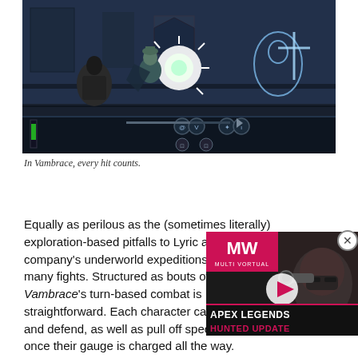[Figure (screenshot): Screenshot from Vambrace game showing a combat scene with characters fighting in a dark dungeon environment. The UI shows health bars and character icons at the bottom.]
In Vambrace, every hit counts.
Equally as perilous as the (sometimes literally) exploration-based pitfalls to Lyric and company's underworld expeditions are their many fights. Structured as bouts of 4-on-4, Vambrace's turn-based combat is straightforward. Each character can attack and defend, as well as pull off special skills once their gauge is charged all the way. Things get more complicated when it comes to party members.. Players have the ability to recruit up to three other characters to their
[Figure (screenshot): Apex Legends Hunted Update video advertisement overlay showing a character and the Multi Vortual (MW) logo with a play button.]